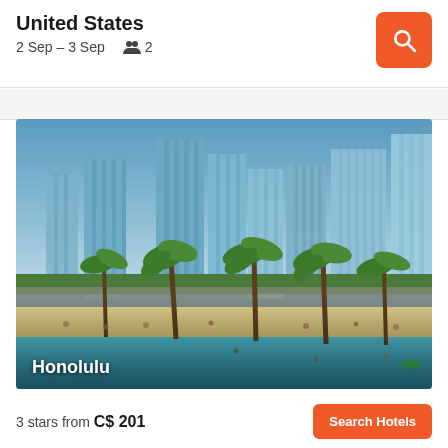United States
2 Sep – 3 Sep   👥 2
[Figure (photo): Aerial/ground view of Honolulu beach with palm trees, turquoise ocean water, people on sandy beach, and tall blue glass skyscrapers in the background]
Honolulu
3 stars from C$ 201
Search Hotels